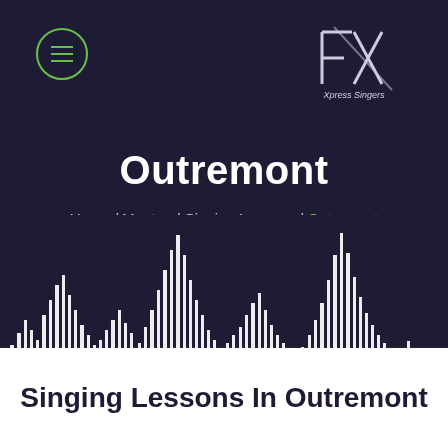[Figure (logo): FX Xpress Singers logo — stylized F and X letters with 'Xpress Singers' text below]
Outremont
Home / Montreal Singing Lessons / Outremont
[Figure (illustration): Audio waveform / sound wave visualization with white spikes on dark navy background, transitioning to white at the bottom]
Singing Lessons In Outremont